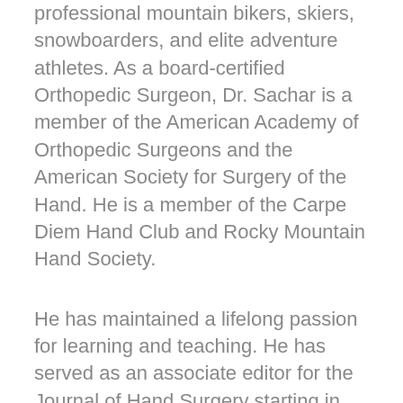professional mountain bikers, skiers, snowboarders, and elite adventure athletes. As a board-certified Orthopedic Surgeon, Dr. Sachar is a member of the American Academy of Orthopedic Surgeons and the American Society for Surgery of the Hand. He is a member of the Carpe Diem Hand Club and Rocky Mountain Hand Society.
He has maintained a lifelong passion for learning and teaching. He has served as an associate editor for the Journal of Hand Surgery starting in 1999. He is on the editorial board of the Journal of OrthopaedicTechniques and has been a reviewer for the journal Current Orthopedic Practice since 2009. He has been an examiner for the American Board of Orthopedic Surgery since 2010. Dr. Sachar has been the director of the successful